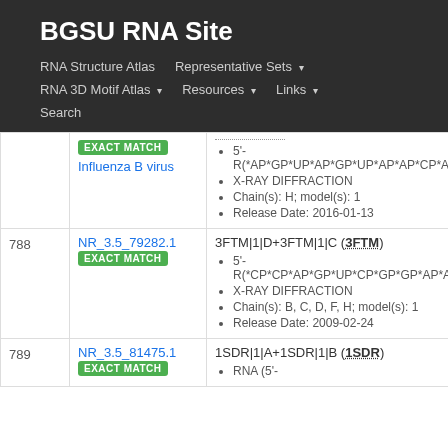BGSU RNA Site
RNA Structure Atlas | Representative Sets | RNA 3D Motif Atlas | Resources | Links | Search
| # | ID | Details |
| --- | --- | --- |
|  | EXACT MATCH
Influenza B virus | 5'- R(*AP*GP*UP*AP*GP*UP*AP*AP*CP*A...
X-RAY DIFFRACTION
Chain(s): H; model(s): 1
Release Date: 2016-01-13 |
| 788 | NR_3.5_79282.1
EXACT MATCH | 3FTM|1|D+3FTM|1|C (3FTM)
5'- R(*CP*CP*AP*GP*UP*CP*GP*GP*AP*A...
X-RAY DIFFRACTION
Chain(s): B, C, D, F, H; model(s): 1
Release Date: 2009-02-24 |
| 789 | NR_3.5_81475.1
EXACT MATCH | 1SDR|1|A+1SDR|1|B (1SDR)
RNA (5'-... |